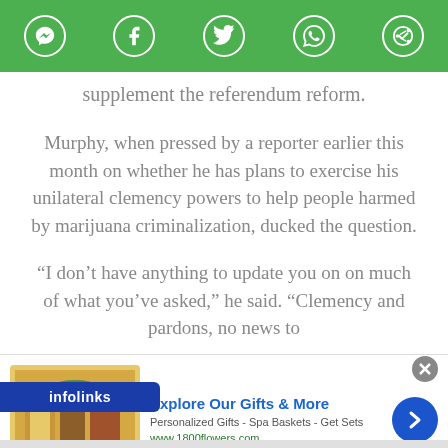[Figure (other): Social sharing toolbar with green background showing icons for Messenger, Facebook, Twitter, WhatsApp, and another social platform]
supplement the referendum reform.
Murphy, when pressed by a reporter earlier this month on whether he has plans to exercise his unilateral clemency powers to help people harmed by marijuana criminalization, ducked the question.
“I don’t have anything to update you on on much of what you’ve asked,” he said. “Clemency and pardons, no news to
[Figure (screenshot): Infolinks advertisement banner for 1800flowers.com showing 'Explore Our Gifts & More' with product image and navigation arrow]